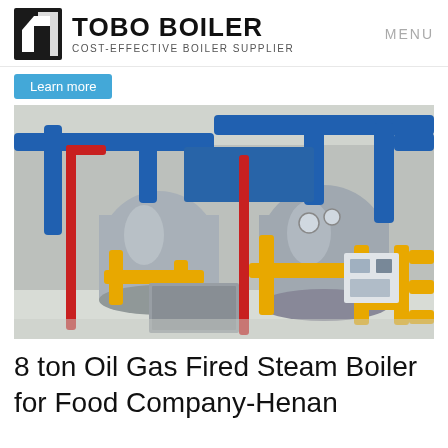TOBO BOILER — COST-EFFECTIVE BOILER SUPPLIER | MENU
Learn more
[Figure (photo): Industrial boiler room with two large horizontal cylindrical steam boilers. Blue insulated pipes run overhead and around the boilers. Yellow gas supply pipes connect below. Red pipes visible on the sides. Stainless steel cladding on equipment. Clean white-tiled industrial floor.]
8 ton Oil Gas Fired Steam Boiler for Food Company-Henan